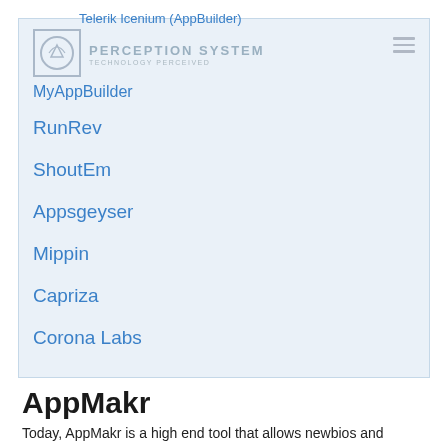Telerik Icenium (AppBuilder)
MyAppBuilder
RunRev
ShoutEm
Appsgeyser
Mippin
Capriza
Corona Labs
AppMakr
Today, AppMakr is a high end tool that allows newbios and